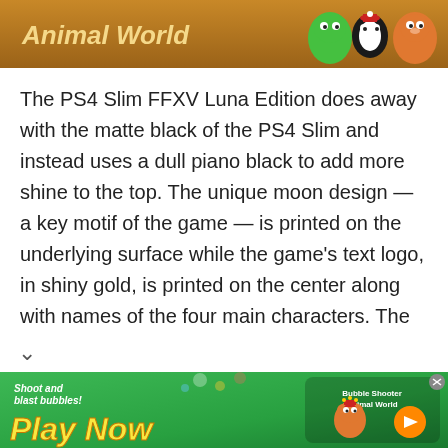[Figure (illustration): Top advertisement banner with brown/orange background showing 'Animal World' text in stylized yellow font with cartoon animal characters on the right side]
The PS4 Slim FFXV Luna Edition does away with the matte black of the PS4 Slim and instead uses a dull piano black to add more shine to the top. The unique moon design — a key motif of the game — is printed on the underlying surface while the game's text logo, in shiny gold, is printed on the center along with names of the four main characters. The unique grey paint used on the moon motif bounces off lights when viewed from various angles adding a more luxe feel to the unit.
[Figure (illustration): Bottom advertisement banner for 'Play Now' bubble shooter game called 'Bubble Shooter Animal World' with green background, yellow Play Now text, cartoon animal characters, and an X close button]